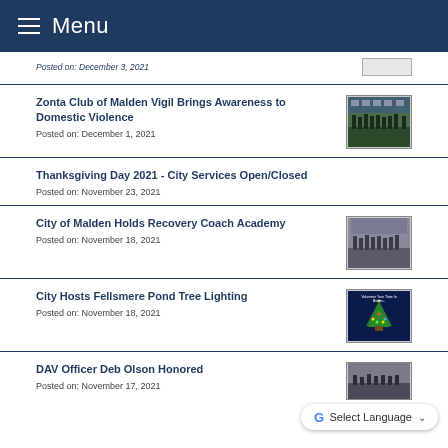Menu
Posted on: December 3, 2021
Zonta Club of Malden Vigil Brings Awareness to Domestic Violence
Posted on: December 1, 2021
[Figure (photo): Group photo of people standing outdoors at night for Zonta Club vigil]
Thanksgiving Day 2021 - City Services Open/Closed
Posted on: November 23, 2021
City of Malden Holds Recovery Coach Academy
Posted on: November 18, 2021
[Figure (photo): Group photo of Recovery Coach Academy attendees]
City Hosts Fellsmere Pond Tree Lighting
Posted on: November 18, 2021
[Figure (photo): Dark blue flyer for Fellsmere Pond Tree Lighting event with Christmas tree illustration]
DAV Officer Deb Olson Honored
Posted on: November 17, 2021
[Figure (photo): Group photo for DAV Officer recognition]